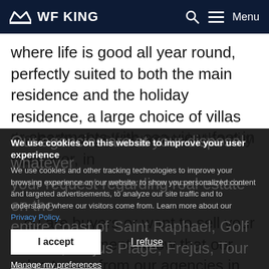WF KING
where life is good all year round, perfectly suited to both the main residence and the holiday residence, a large choice of villas or apartments with sea view, feet in the water, in the heart of golf courses, in the city center,
We use cookies on this website to improve your user experience
We use cookies and other tracking technologies to improve your browsing experience on our website, to show you personalized content and targeted advertisements, to analyze our site traffic and to understand where our visitors come from. Learn more about our Privacy Policy.
Our agencies are at your disposal whatever your request regarding real estate on the entire coast of Saint Raphael, Golf Course, Frejus Plage, Frejus, Tour de Marc, Boulouris and its surroundings.
I accept
I refuse
Manage my preferences
...ou are buyers or want to sell your villa or apartment, know that our sales teams from our agencies in St RAPHAEL VALESCURE